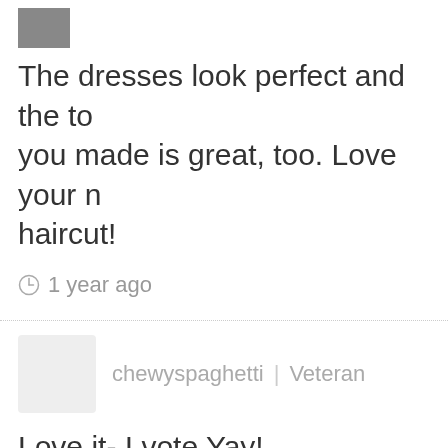[Figure (photo): Partial avatar/profile image, cropped at top]
The dresses look perfect and the to you made is great, too. Love your n haircut!
1 year ago
chewyspaghetti | Veteran
Love it- I vote Yay!
I have this gress in olive green and haven't had a chance to wear it yet